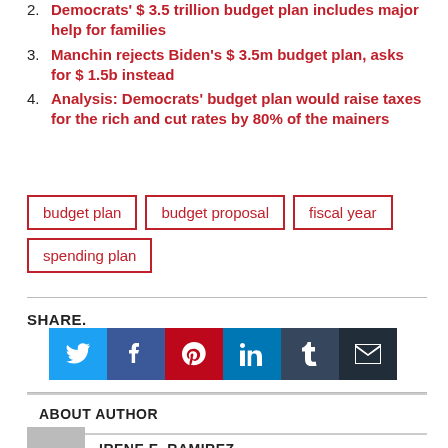2. Democrats' $3.5 trillion budget plan includes major help for families
3. Manchin rejects Biden's $3.5m budget plan, asks for $1.5b instead
4. Analysis: Democrats' budget plan would raise taxes for the rich and cut rates by 80% of the mainers
budget plan   budget proposal   fiscal year   spending plan
SHARE.
[Figure (infographic): Social share buttons: Twitter (blue), Facebook (blue), Pinterest (red), LinkedIn (blue), Tumblr (dark blue), Email (dark)]
ABOUT AUTHOR
IRENE E. RAMIREZ